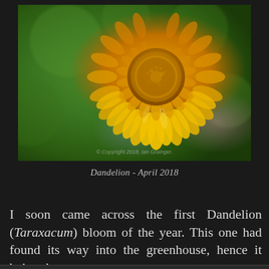[Figure (photo): Close-up macro photograph of a yellow dandelion (Taraxacum) flower in bloom against a blurred green background. Copyright watermark reads '© Copyright 2018, Ian Grainger.']
Dandelion - April 2018
I soon came across the first Dandelion (Taraxacum) bloom of the year. This one had found its way into the greenhouse, hence it being dry.